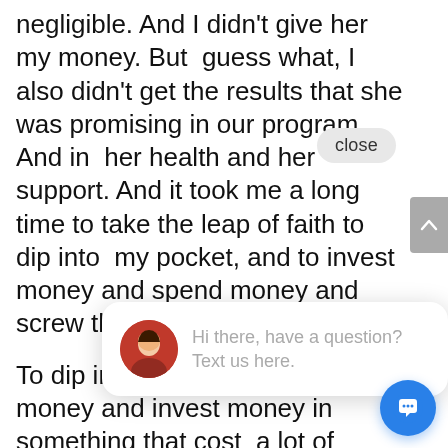negligible. And I didn't give her my money. But  guess what, I also didn't get the results that she was promising in our program. And in  her health and her support. And it took me a long time to take the leap of faith to dip into  my pocket, and to invest money and spend money and screw that.
To dip into my debt and to spend money and invest money in something that cost  a lot of money. And I kept could just video, do how I could do this on my own.
[Figure (screenshot): Chat popup overlay with close button, avatar of a woman, text 'Hi there, have a question? Text us here.', scroll-up button, and blue chat FAB button.]
And so the scarcity mindset that I h running was that I can figure this out can  do it like  I can do it myself. I can